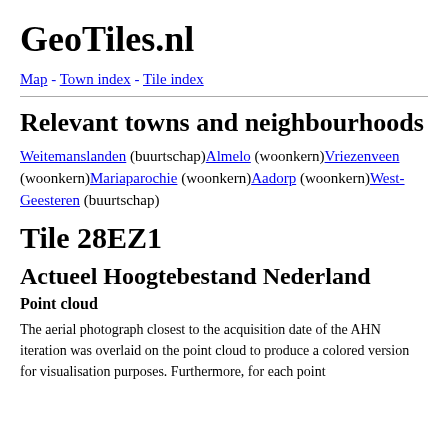GeoTiles.nl
Map - Town index - Tile index
Relevant towns and neighbourhoods
Weitemanslanden (buurtschap)Almelo (woonkern)Vriezenveen (woonkern)Mariaparochie (woonkern)Aadorp (woonkern)West-Geesteren (buurtschap)
Tile 28EZ1
Actueel Hoogtebestand Nederland
Point cloud
The aerial photograph closest to the acquisition date of the AHN iteration was overlaid on the point cloud to produce a colored version for visualisation purposes. Furthermore, for each point